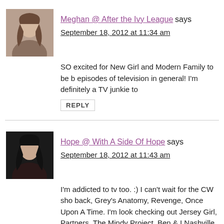[Figure (photo): Avatar photo of Meghan, a woman with long hair]
Meghan @ After the Ivy League says
September 18, 2012 at 11:34 am
SO excited for New Girl and Modern Family to be b episodes of television in general! I'm definitely a TV junkie to
REPLY
[Figure (photo): Avatar photo of Hope, a woman with dark hair]
Hope @ With A Side Of Hope says
September 18, 2012 at 11:43 am
I'm addicted to tv too. :) I can't wait for the CW sho back, Grey's Anatomy, Revenge, Once Upon A Time. I'm look checking out Jersey Girl, Partners, The Mindy Project, Ben & I Nashville.
REPLY